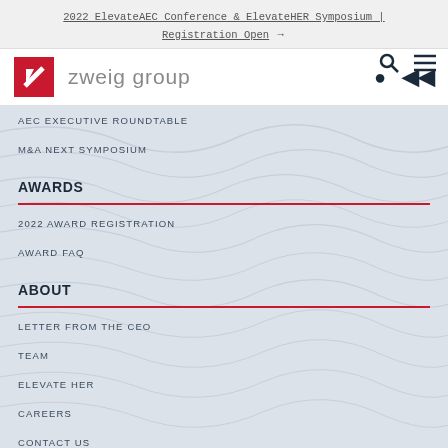2022 ElevateAEC Conference & ElevateHER Symposium | Registration Open →
[Figure (logo): Zweig Group logo with red square containing white angled stripe and brand name 'zweig group' in gray, with search and menu icons]
AEC EXECUTIVE ROUNDTABLE
M&A NEXT SYMPOSIUM
AWARDS
2022 AWARD REGISTRATION
AWARD FAQ
ABOUT
LETTER FROM THE CEO
TEAM
ELEVATE HER
CAREERS
CONTACT US
NEWS